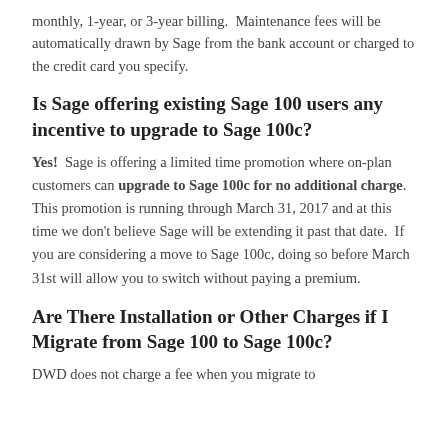monthly, 1-year, or 3-year billing.  Maintenance fees will be automatically drawn by Sage from the bank account or charged to the credit card you specify.
Is Sage offering existing Sage 100 users any incentive to upgrade to Sage 100c?
Yes!  Sage is offering a limited time promotion where on-plan customers can upgrade to Sage 100c for no additional charge.  This promotion is running through March 31, 2017 and at this time we don't believe Sage will be extending it past that date.  If you are considering a move to Sage 100c, doing so before March 31st will allow you to switch without paying a premium.
Are There Installation or Other Charges if I Migrate from Sage 100 to Sage 100c?
DWD does not charge a fee when you migrate to